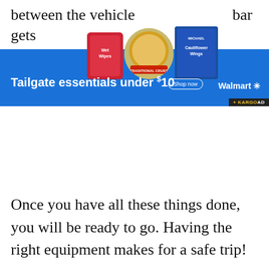between the vehicle and the bar gets
[Figure (screenshot): Walmart advertisement banner with blue background showing tailgate food products (wet wipes bag, pizza, cauliflower wings). Text reads 'Tailgate essentials under $10' with Walmart logo and Shop Now button. KARGO AD label in bottom right.]
Once you have all these things done, you will be ready to go. Having the right equipment makes for a safe trip!